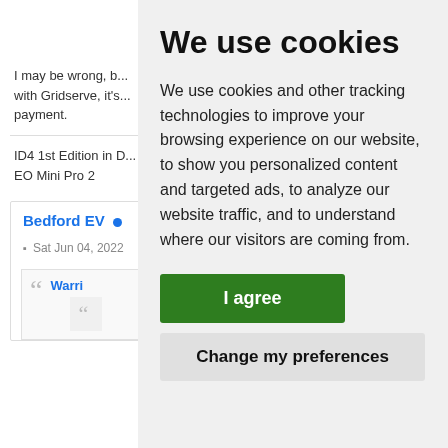[Figure (illustration): Thumbs up emoji icon]
I may be wrong, b... with Gridserve, it's... payment.
ID4 1st Edition in D... EO Mini Pro 2
Bedford EV •
Sat Jun 04, 2022
Warri
We use cookies
We use cookies and other tracking technologies to improve your browsing experience on our website, to show you personalized content and targeted ads, to analyze our website traffic, and to understand where our visitors are coming from.
I agree
Change my preferences